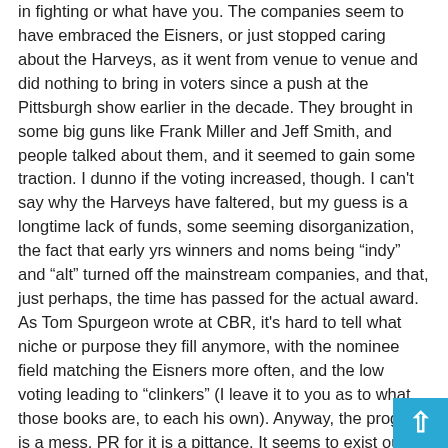in fighting or what have you. The companies seem to have embraced the Eisners, or just stopped caring about the Harveys, as it went from venue to venue and did nothing to bring in voters since a push at the Pittsburgh show earlier in the decade. They brought in some big guns like Frank Miller and Jeff Smith, and people talked about them, and it seemed to gain some traction. I dunno if the voting increased, though. I can't say why the Harveys have faltered, but my guess is a longtime lack of funds, some seeming disorganization, the fact that early yrs winners and noms being “indy” and “alt” turned off the mainstream companies, and that, just perhaps, the time has passed for the actual award. As Tom Spurgeon wrote at CBR, it's hard to tell what niche or purpose they fill anymore, with the nominee field matching the Eisners more often, and the low voting leading to “clinkers” (I leave it to you as to what those books are, to each his own). Anyway, the program is a mess. PR for it is a pittance. It seems to exist out of tenacity, stubbornness and momentum. Nominees rarely attend the ceremony, folks don’t talk about the awards much besides the yearly drubbing of the nominees th